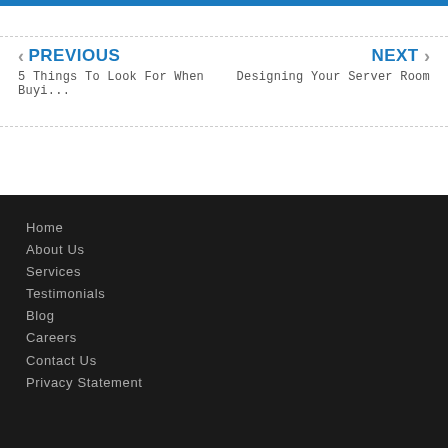PREVIOUS | 5 Things To Look For When Buyi... | NEXT | Designing Your Server Room
Home
About Us
Services
Testimonials
Blog
Careers
Contact Us
Privacy Statement